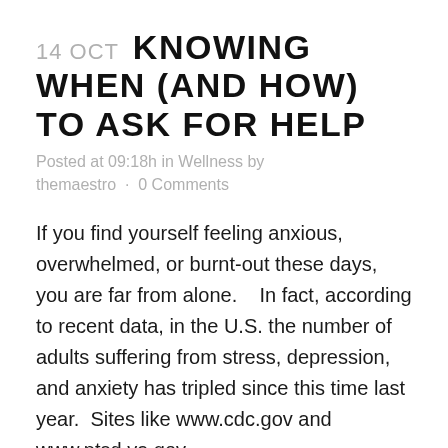14 OCT  KNOWING WHEN (AND HOW) TO ASK FOR HELP
Posted at 09:18h in Wellness by themaestro · 0 Comments
If you find yourself feeling anxious, overwhelmed, or burnt-out these days,  you are far from alone.    In fact, according to recent data, in the U.S. the number of adults suffering from stress, depression, and anxiety has tripled since this time last year.  Sites like www.cdc.gov and www.ptsd.va.gov